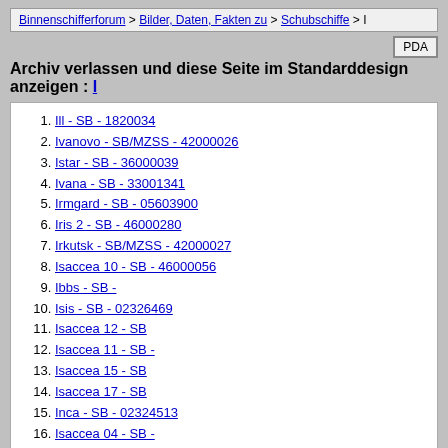Binnenschifferforum > Bilder, Daten, Fakten zu > Schubschiffe > I
Archiv verlassen und diese Seite im Standarddesign anzeigen : I
1. Ill - SB - 1820034
2. Ivanovo - SB/MZSS - 42000026
3. Istar - SB - 36000039
4. Ivana - SB - 33001341
5. Irmgard - SB - 05603900
6. Iris 2 - SB - 46000280
7. Irkutsk - SB/MZSS - 42000027
8. Isaccea 10 - SB - 46000056
9. Ibbs - SB -
10. Isis - SB - 02326469
11. Isaccea 12 - SB
12. Isaccea 11 - SB -
13. Isaccea 15 - SB
14. Isaccea 17 - SB
15. Inca - SB - 02324513
16. Isaccea 04 - SB -
17. Ion Fonaghi - MSL / Bj. 1963
18. Infinity - SB - 06503822 & Infinity II - GSL - 06003428
19. Ipoly - SB - 8601243
20. Isaccea 13 - SB
21. Isaccea 14 - SB